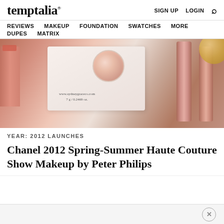temptalia® | SIGN UP  LOGIN  🔍
REVIEWS  MAKEUP  FOUNDATION  SWATCHES  MORE  DUPES  MATRIX
[Figure (photo): Hero image of rose gold makeup products including lipsticks and an eyeshadow palette packet from www.sydneygraceco.com, 7 g / 0.2469 oz]
YEAR: 2012 LAUNCHES
Chanel 2012 Spring-Summer Haute Couture Show Makeup by Peter Philips